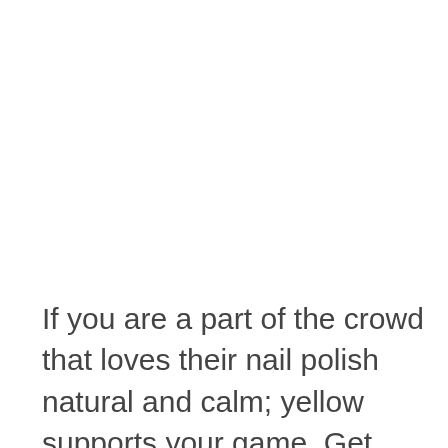If you are a part of the crowd that loves their nail polish natural and calm; yellow supports your game. Get experimental and embrace